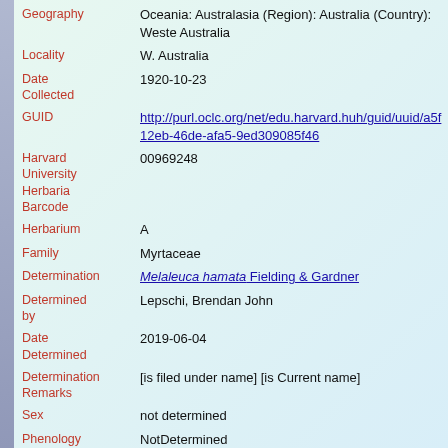Geography: Oceania: Australasia (Region): Australia (Country): Western Australia
Locality: W. Australia
Date Collected: 1920-10-23
GUID: http://purl.oclc.org/net/edu.harvard.huh/guid/uuid/a5f...12eb-46de-afa5-9ed309085f46
Harvard University Herbaria Barcode: 00969248
Herbarium: A
Family: Myrtaceae
Determination: Melaleuca hamata Fielding & Gardner
Determined by: Lepschi, Brendan John
Date Determined: 2019-06-04
Determination Remarks: [is filed under name] [is Current name]
Sex: not determined
Phenology: NotDetermined
Preparation: Sheet